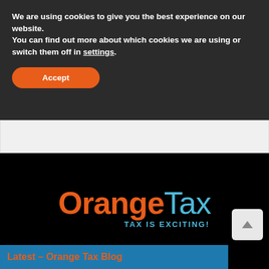We are using cookies to give you the best experience on our website.
You can find out more about which cookies we are using or switch them off in settings.
Accept
[Figure (logo): OrangeTax logo with 'TAX IS EXCITING!' tagline on black background]
Latest – Orange Tax Blog